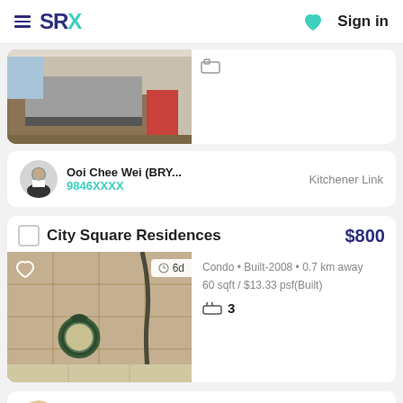SRX | Sign in
[Figure (photo): Partial view of a bedroom with a single bed and a red chair on wooden flooring]
Ooi Chee Wei (BRY... 9846XXXX | Kitchener Link
City Square Residences $800
[Figure (photo): Interior photo of a bathroom shower area with a round mirror and shower head]
Condo • Built-2008 • 0.7 km away
60 sqft / $13.33 psf(Built)
3 bathrooms
Bruce Ong | Kitchener Link